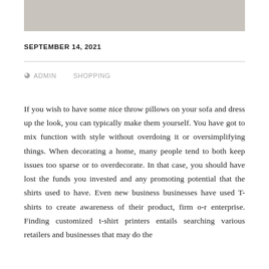[Figure (photo): Partial top edge of a photograph, gray/beige toned, content mostly cropped out of view]
SEPTEMBER 14, 2021
ADMIN   SHOPPING
If you wish to have some nice throw pillows on your sofa and dress up the look, you can typically make them yourself. You have got to mix function with style without overdoing it or oversimplifying things. When decorating a home, many people tend to both keep issues too sparse or to overdecorate. In that case, you should have lost the funds you invested and any promoting potential that the shirts used to have. Even new business businesses have used T-shirts to create awareness of their product, firm o-r enterprise. Finding customized t-shirt printers entails searching various retailers and businesses that may do the